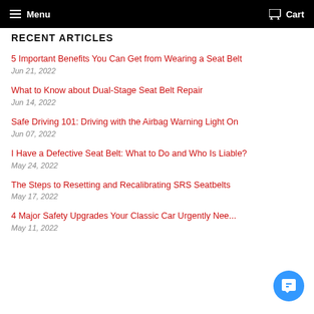Menu | Cart
RECENT ARTICLES
5 Important Benefits You Can Get from Wearing a Seat Belt
Jun 21, 2022
What to Know about Dual-Stage Seat Belt Repair
Jun 14, 2022
Safe Driving 101: Driving with the Airbag Warning Light On
Jun 07, 2022
I Have a Defective Seat Belt: What to Do and Who Is Liable?
May 24, 2022
The Steps to Resetting and Recalibrating SRS Seatbelts
May 17, 2022
4 Major Safety Upgrades Your Classic Car Urgently Nee...
May 11, 2022